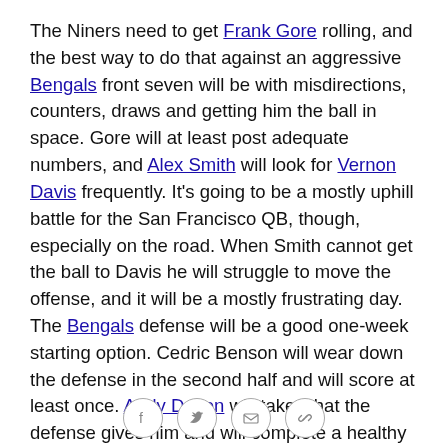The Niners need to get Frank Gore rolling, and the best way to do that against an aggressive Bengals front seven will be with misdirections, counters, draws and getting him the ball in space. Gore will at least post adequate numbers, and Alex Smith will look for Vernon Davis frequently. It's going to be a mostly uphill battle for the San Francisco QB, though, especially on the road. When Smith cannot get the ball to Davis he will struggle to move the offense, and it will be a mostly frustrating day. The Bengals defense will be a good one-week starting option. Cedric Benson will wear down the defense in the second half and will score at least once. Andy Dalton will take what the defense gives him and will complete a healthy amount of passes to A.J. Green and Jermaine Gresham. Green is quickly
[Figure (other): Social sharing icons: Facebook, Twitter, Email, Link/Copy]